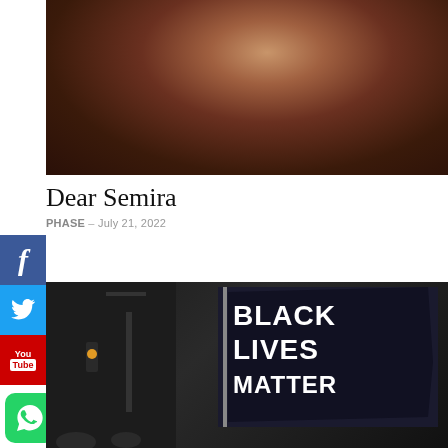[Figure (photo): A person leaning forward, close-up photo with warm tones, blurred background. The subject appears to be resting their arms on a surface.]
Dear Semira
PHASE – July 21, 2022
[Figure (photo): A Black Lives Matter protest scene showing a person holding a large black flag reading 'BLACK LIVES MATTER' with a traffic light and city street in the background.]